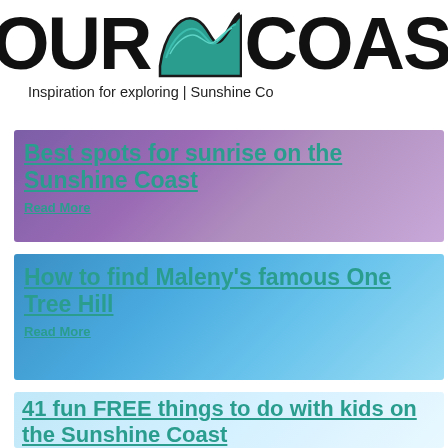[Figure (logo): OUR COAST logo with teal wave graphic, bold black text, partially cropped on right side]
Inspiration for exploring | Sunshine Co
[Figure (illustration): Purple/mauve gradient card with teal link title 'Best spots for sunrise on the Sunshine Coast' and 'Read More' link]
[Figure (illustration): Blue gradient card with teal link title 'How to find Maleny's famous One Tree Hill' and 'Read More' link]
[Figure (illustration): Light blue gradient card with teal link title '41 fun FREE things to do with kids on the Sunshine Coast']